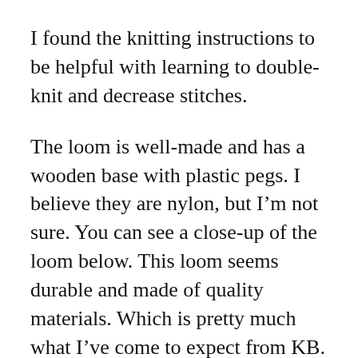I found the knitting instructions to be helpful with learning to double-knit and decrease stitches.
The loom is well-made and has a wooden base with plastic pegs. I believe they are nylon, but I’m not sure. You can see a close-up of the loom below. This loom seems durable and made of quality materials. Which is pretty much what I’ve come to expect from KB. You might spend a bit more on these looms than say buying a set of Boye or Loops & Threads looms, but the quality is superior.
So, what can you make on this loom?